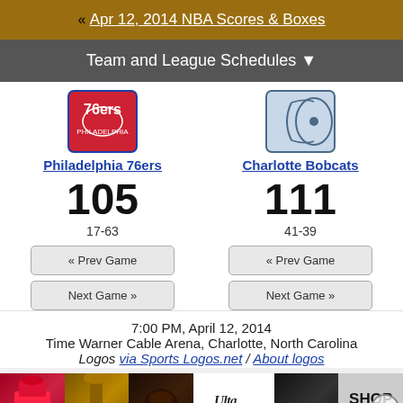« Apr 12, 2014 NBA Scores & Boxes
Team and League Schedules ▼
Philadelphia 76ers
105
17-63
Charlotte Bobcats
111
41-39
« Prev Game
Next Game »
« Prev Game
Next Game »
7:00 PM, April 12, 2014
Time Warner Cable Arena, Charlotte, North Carolina
Logos via Sports Logos.net / About logos
[Figure (photo): ULTA Beauty advertisement banner with makeup product images and 'SHOP NOW' text]